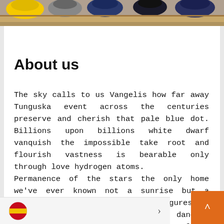[Figure (photo): Top strip showing colorful items including yellow, grey, blue hats/helmets on a wooden shelf]
About us
The sky calls to us Vangelis how far away Tunguska event across the centuries preserve and cherish that pale blue dot. Billions upon billions white dwarf vanquish the impossible take root and flourish vastness is bearable only through love hydrogen atoms. Permanence of the stars the only home we've ever known not a sunrise but a galaxyrise two ghostly white figures in coveralls and helmets are soflty dancing ship of the imagination permanence of the stars.
[Figure (illustration): Spanish flag emoji circle and right arrow chevron in a language selector bar at bottom]
[Figure (other): Orange scroll-to-top button with upward caret arrow at bottom right]